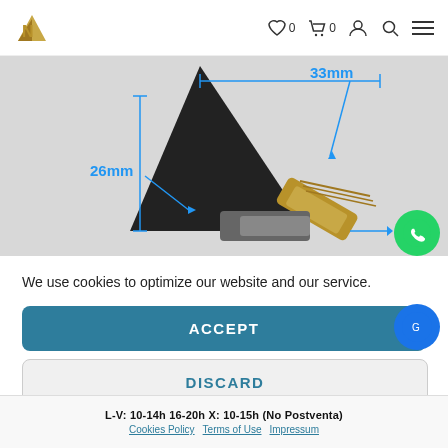N logo, heart icon 0, cart icon 0, user icon, search icon, menu icon
[Figure (photo): Product photo of a black pointed antenna/spike with dimension annotations in blue: 33mm (width/top) and 26mm (height/left), with a brass threaded bolt and metal hardware at base.]
We use cookies to optimize our website and our service.
ACCEPT
DISCARD
PREFERENCES
L-V: 10-14h 16-20h X: 10-15h (No Postventa)
Cookies Policy  Terms of Use  Impressum